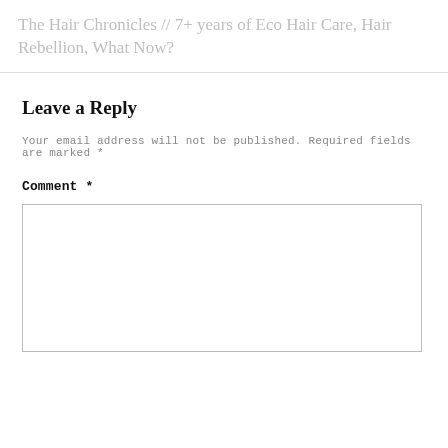The Hair Chronicles // 7+ years of Eco Hair Care, Hair Rebellion, What Now?
Leave a Reply
Your email address will not be published. Required fields are marked *
Comment *